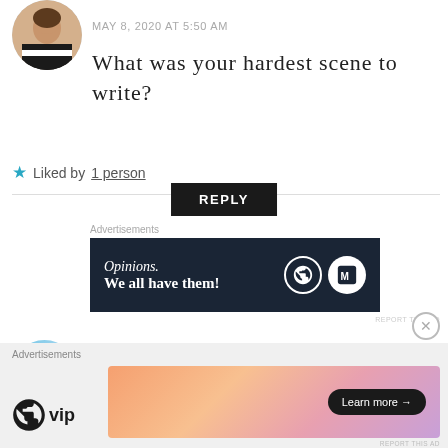[Figure (photo): Circular avatar photo of a woman wearing a black and white striped top]
MAY 8, 2020 AT 5:50 AM
What was your hardest scene to write?
★ Liked by 1 person
REPLY
Advertisements
[Figure (illustration): Dark navy advertisement banner reading 'Opinions. We all have them!' with WordPress and another logo]
REPORT THIS AD
[Figure (photo): Circular avatar partially visible, blue-grey gradient]
Victoria Alexander
Advertisements
[Figure (logo): WordPress VIP logo]
[Figure (illustration): Gradient pastel advertisement banner with 'Learn more' button]
REPORT THIS AD